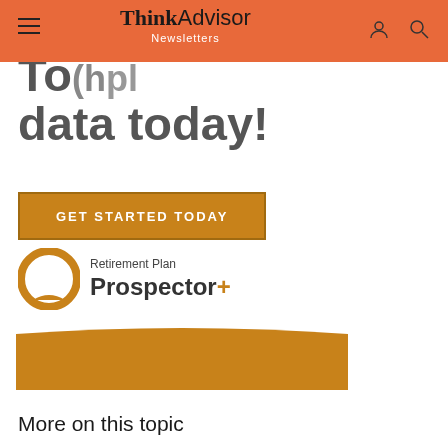ThinkAdvisor Newsletters
data today!
[Figure (logo): GET STARTED TODAY button - orange CTA button]
[Figure (logo): Retirement Plan Prospector+ logo with speech bubble icon]
[Figure (illustration): Orange banner/wave decorative element]
More on this topic